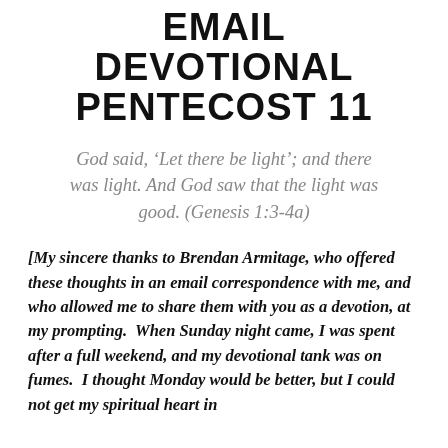EMAIL DEVOTIONAL PENTECOST 11
God said, ‘Let there be light’; and there was light. And God saw that the light was good. (Genesis 1:3-4a)
[My sincere thanks to Brendan Armitage, who offered these thoughts in an email correspondence with me, and who allowed me to share them with you as a devotion, at my prompting.  When Sunday night came, I was spent after a full weekend, and my devotional tank was on fumes.  I thought Monday would be better, but I could not get my spiritual heart in